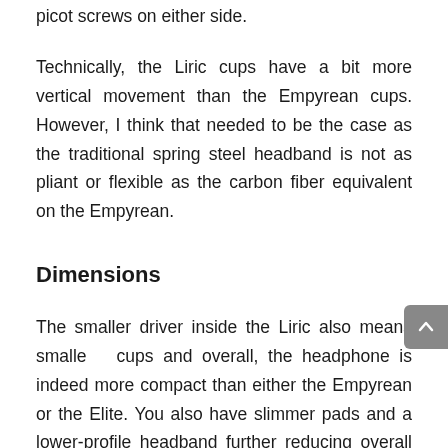picot screws on either side.
Technically, the Liric cups have a bit more vertical movement than the Empyrean cups. However, I think that needed to be the case as the traditional spring steel headband is not as pliant or flexible as the carbon fiber equivalent on the Empyrean.
Dimensions
The smaller driver inside the Liric also means smaller cups and overall, the headphone is indeed more compact than either the Empyrean or the Elite. You also have slimmer pads and a lower-profile headband further reducing overall dimensions and a decrease of nearly 40g over the Empyrean weight